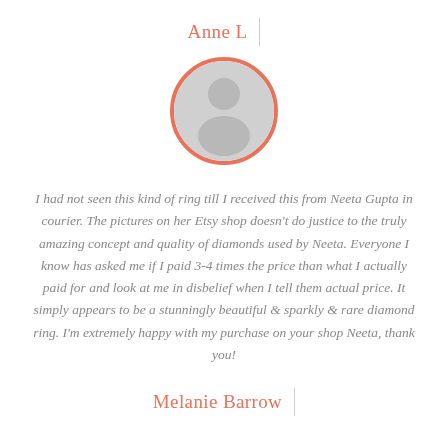Anne L
[Figure (illustration): Default user avatar placeholder: a circle with salmon/coral border containing a gray silhouette of a person (head and shoulders)]
I had not seen this kind of ring till I received this from Neeta Gupta in courier. The pictures on her Etsy shop doesn't do justice to the truly amazing concept and quality of diamonds used by Neeta. Everyone I know has asked me if I paid 3-4 times the price than what I actually paid for and look at me in disbelief when I tell them actual price. It simply appears to be a stunningly beautiful & sparkly & rare diamond ring. I'm extremely happy with my purchase on your shop Neeta, thank you!
Melanie Barrow